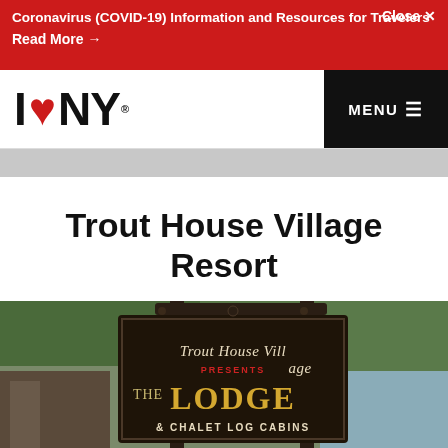Coronavirus (COVID-19) Information and Resources for Travelers
Read More →
Close ✕
[Figure (logo): I Love NY logo with red heart, and MENU hamburger button on black background]
Trout House Village Resort
[Figure (photo): Photo of a wooden sign for Trout House Village presenting The Lodge and Chalet Log Cabins, with trees and a lake in the background]